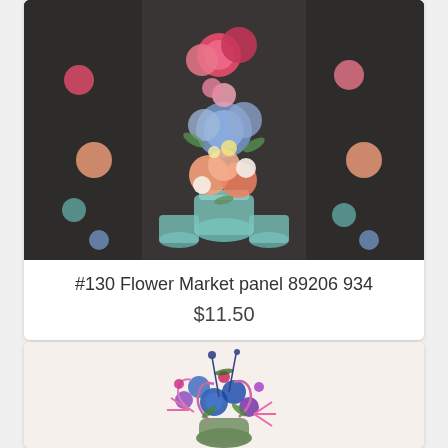[Figure (photo): Floral arrangement fabric panel showing colorful flowers in teal/blue mason jars on a dark background, with a repeating pattern]
#130 Flower Market panel 89206 934
$11.50
[Figure (photo): Decorative floral bouquet illustration with blue, purple, pink flowers and swirling vines on a light beige background]